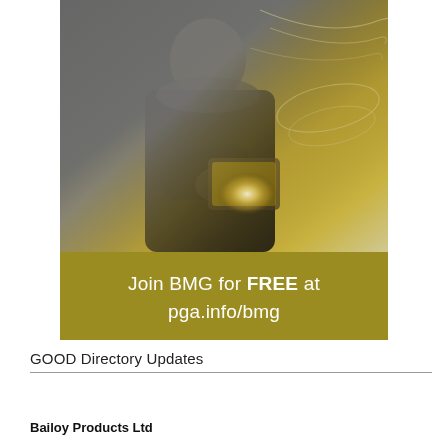[Figure (photo): Advertisement image showing a man in a suit holding a glowing tablet device, with golden/olive background and decorative wave lines. Below the photo is an olive/gold banner with white text reading: Join BMG for FREE at pga.info/bmg]
GOOD Directory Updates
Bailoy Products Ltd